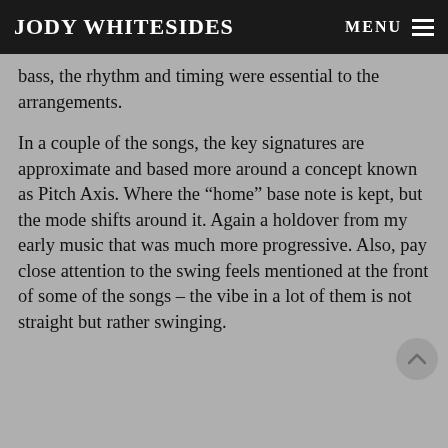JODY WHITESIDES   MENU
bass, the rhythm and timing were essential to the arrangements.
In a couple of the songs, the key signatures are approximate and based more around a concept known as Pitch Axis. Where the “home” base note is kept, but the mode shifts around it. Again a holdover from my early music that was much more progressive. Also, pay close attention to the swing feels mentioned at the front of some of the songs – the vibe in a lot of them is not straight but rather swinging.